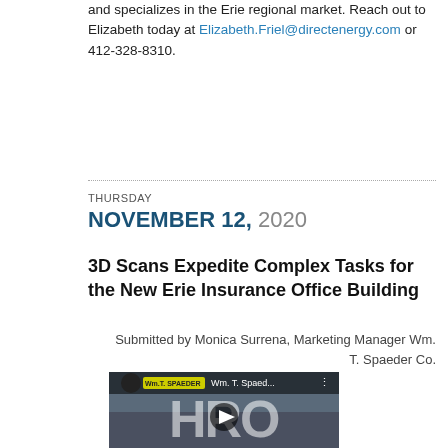and specializes in the Erie regional market. Reach out to Elizabeth today at Elizabeth.Friel@directenergy.com or 412-328-8310.
THURSDAY NOVEMBER 12, 2020
3D Scans Expedite Complex Tasks for the New Erie Insurance Office Building
Submitted by Monica Surrena, Marketing Manager Wm. T. Spaeder Co.
[Figure (screenshot): Video thumbnail showing Wm. T. Spaeder company video with play button, title 'Wm. T. Spaed...' and construction/aerial imagery in background]